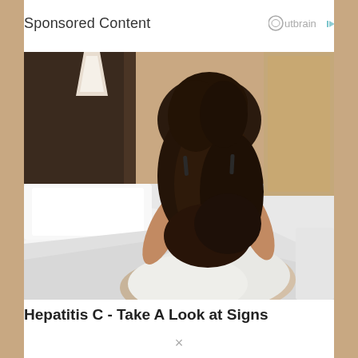Sponsored Content
[Figure (photo): Woman in white sitting on a bed holding her lower back, shown from behind, with dark long hair, in a bedroom setting with white bedding and dark headboard.]
Hepatitis C - Take A Look at Signs